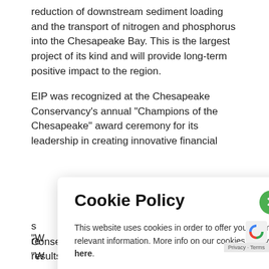reduction of downstream sediment loading and the transport of nitrogen and phosphorus into the Chesapeake Bay. This is the largest project of its kind and will provide long-term positive impact to the region.
EIP was recognized at the Chesapeake Conservancy's annual "Champions of the Chesapeake" award ceremony for its leadership in creating innovative financial s... re... C... a... t... te... k...
[Figure (screenshot): Cookie Policy modal overlay with title 'Cookie Policy', a green close (X) button, body text about cookies, a 'Got It' green button, and a Privacy-Terms badge.]
"W... Conservancy for our dedication to results-focused